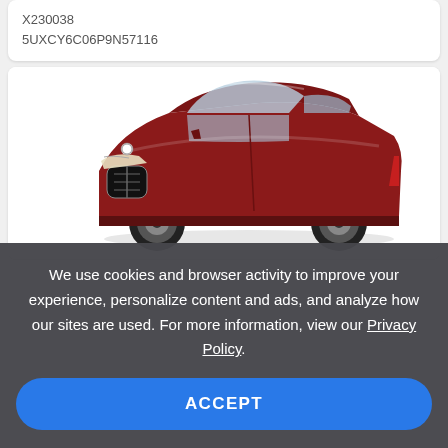X230038
5UXCY6C06P9N57116
[Figure (photo): Red BMW X6 SUV coupe, side/front three-quarter view on white background]
We use cookies and browser activity to improve your experience, personalize content and ads, and analyze how our sites are used. For more information, view our Privacy Policy.
ACCEPT